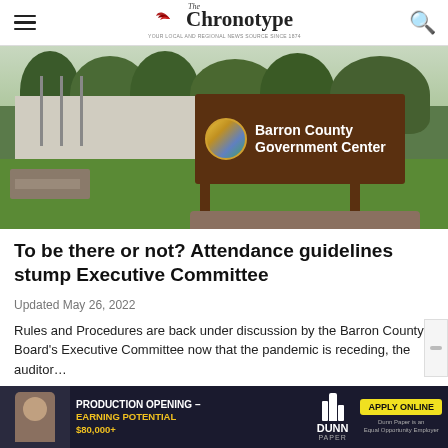The Chronotype
[Figure (photo): Barron County Government Center sign in front of a building with trees and grass. Brown wooden sign with the text 'Barron County Government Center' and a county seal logo.]
To be there or not? Attendance guidelines stump Executive Committee
Updated May 26, 2022
Rules and Procedures are back under discussion by the Barron County Board's Executive Committee now that the pandemic is receding, the auditor…
[Figure (infographic): Advertisement banner for Dunn Paper: 'PRODUCTION OPENING – EARNING POTENTIAL $80,000+' with 'APPLY ONLINE' button. Shows a worker image on the left and Dunn Paper logo.]